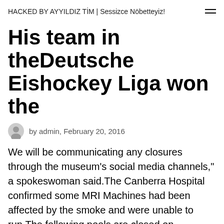HACKED BY AYYILDIZ TİM | Sessizce Nöbetteyiz!
His team in theDeutsche Eishockey Liga won the
by admin, February 20, 2016
We will be communicating any closures through the museum's social media channels," a spokeswoman said.The Canberra Hospital confirmed some MRI Machines had been affected by the smoke and were unable to run.The following pools are closed on Thursday:ANU acting vice chancellor Mike Calford said it was closing the three campuses to students and visitors as a safety precaution. Essential staff will remain